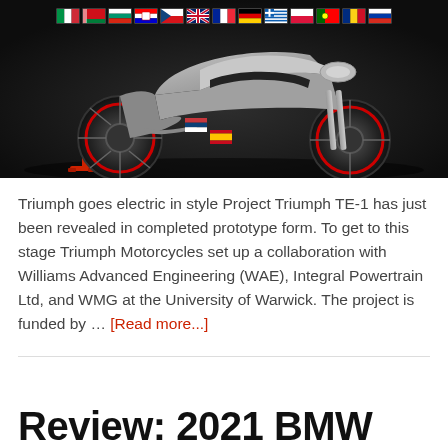[Figure (photo): A sleek silver/chrome electric motorcycle (Triumph TE-1 prototype) displayed against a dark background, with a row of European country flags overlaid across the top of the image.]
Triumph goes electric in style Project Triumph TE-1 has just been revealed in completed prototype form. To get to this stage Triumph Motorcycles set up a collaboration with Williams Advanced Engineering (WAE), Integral Powertrain Ltd, and WMG at the University of Warwick. The project is funded by … [Read more...]
Review: 2021 BMW